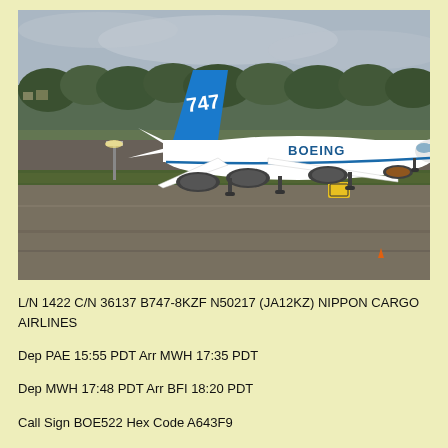[Figure (photo): Boeing 747-8 aircraft in Boeing livery (white with blue accents and '747' on the tail) taxiing on a runway at an airport. Trees and residential area visible in background. Overcast sky.]
L/N 1422 C/N 36137 B747-8KZF N50217 (JA12KZ) NIPPON CARGO AIRLINES
Dep PAE 15:55 PDT Arr MWH 17:35 PDT
Dep MWH 17:48 PDT Arr BFI 18:20 PDT
Call Sign BOE522 Hex Code A643F9
Photo of N50217 Arriving at BFI after First Flight
Photo Credit: Drewski
http://www.flickr.com/photos/smartjunco/4434357740/